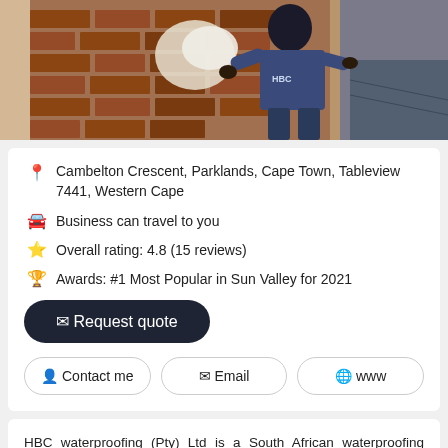[Figure (photo): Worker in HBC branded shirt working on a brick wall]
Cambelton Crescent, Parklands, Cape Town, Tableview 7441, Western Cape
Business can travel to you
Overall rating: 4.8 (15 reviews)
Awards: #1 Most Popular in Sun Valley for 2021
✉ Request quote
Contact me | Email | www
HBC waterproofing (Pty) Ltd is a South African waterproofing company based in Cape Town, with experience that is spread over several years – offering industrial, commercial and residential waterproofing services in Cape Town. Our experience includes just about any conceivable waterproofing contract from shopping malls, warehouses, factories, dams, silos and residential homes. As a premium roofing and waterproofing company, we strive to provide quality services that last for